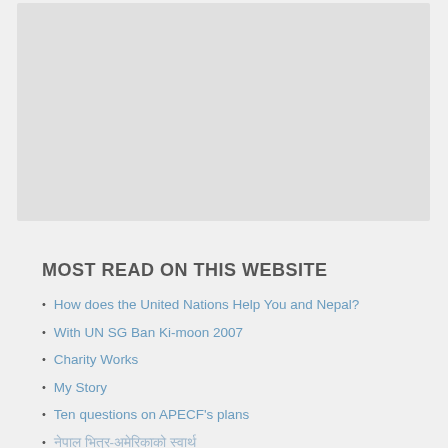[Figure (other): Gray placeholder box (advertisement or image area)]
MOST READ ON THIS WEBSITE
How does the United Nations Help You and Nepal?
With UN SG Ban Ki-moon 2007
Charity Works
My Story
Ten questions on APECF's plans
नेपाल भित्र-अमेरिकाको स्वार्थ